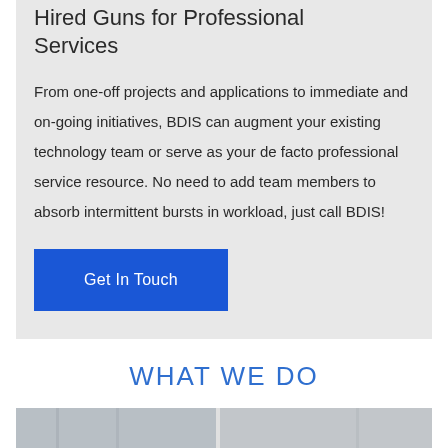Hired Guns for Professional Services
From one-off projects and applications to immediate and on-going initiatives, BDIS can augment your existing technology team or serve as your de facto professional service resource. No need to add team members to absorb intermittent bursts in workload, just call BDIS!
Get In Touch
WHAT WE DO
[Figure (photo): Photo strip showing office/professional environment]